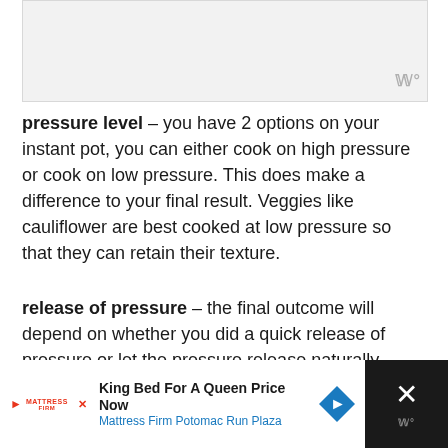[Figure (other): Light gray image placeholder block at top of page]
pressure level – you have 2 options on your instant pot, you can either cook on high pressure or cook on low pressure. This does make a difference to your final result. Veggies like cauliflower are best cooked at low pressure so that they can retain their texture.
release of pressure – the final outcome will depend on whether you did a quick release of pressure or let the pressure release naturally.
[Figure (screenshot): Advertisement banner at bottom: Mattress Firm ad showing 'King Bed For A Queen Price Now' and 'Mattress Firm Potomac Run Plaza' with a blue diamond arrow icon, on dark background with X close button]